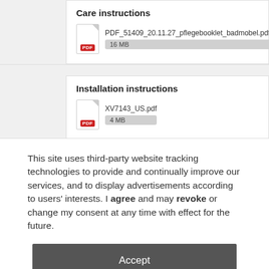Care instructions
PDF_51409_20.11.27_pflegebooklet_badmobel.pdf
16 MB
Installation instructions
XV7143_US.pdf
4 MB
This site uses third-party website tracking technologies to provide and continually improve our services, and to display advertisements according to users' interests. I agree and may revoke or change my consent at any time with effect for the future.
Accept
Settings
Imprint | Privacy Policy